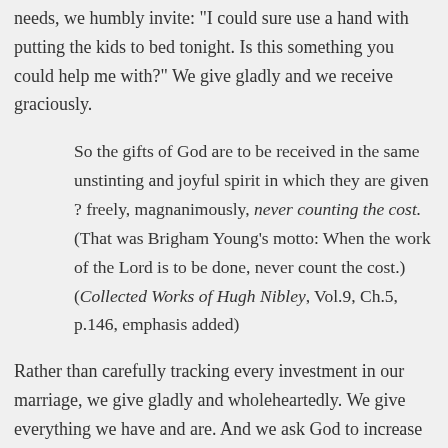needs, we humbly invite: "I could sure use a hand with putting the kids to bed tonight. Is this something you could help me with?" We give gladly and we receive graciously.
So the gifts of God are to be received in the same unstinting and joyful spirit in which they are given ? freely, magnanimously, never counting the cost. (That was Brigham Young’s motto: When the work of the Lord is to be done, never count the cost.) (Collected Works of Hugh Nibley, Vol.9, Ch.5, p.146, emphasis added)
Rather than carefully tracking every investment in our marriage, we give gladly and wholeheartedly. We give everything we have and are. And we ask God to increase our capacity so we can give yet more.
John Gottman’s research on marriage shows that partners who exchange equal numbers of positives and negatives are